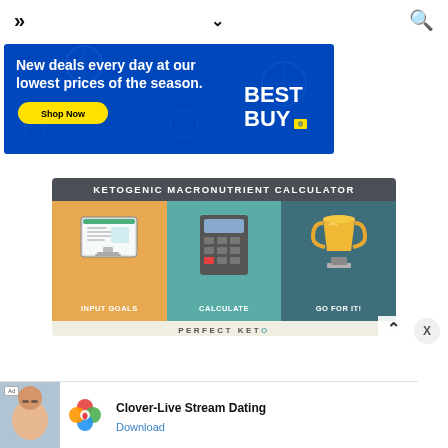[Figure (screenshot): Navigation bar with menu icon (>>), chevron down (v), and search icon]
[Figure (infographic): Best Buy advertisement: 'New deals every day at our lowest prices of the season.' with Shop Now button and Best Buy logo on blue snowflake background]
[Figure (infographic): Ketogenic Macronutrient Calculator ad with three panels: INPUT GOALS (monitor icon, orange background), CALCULATE (calculator icon, teal background), GO FOR IT! (trophy icon, dark teal background). Footer reads PERFECT KETO]
[Figure (screenshot): Clover-Live Stream Dating app advertisement with Ad badge, app icon (colorful clover/flower), app name, and Download link]